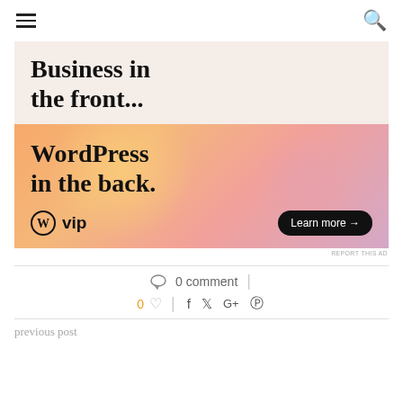Navigation bar with hamburger menu and search icon
[Figure (infographic): Advertisement: top section with light pink/beige background showing text 'Business in the front...' in large serif bold font. Bottom section shows a gradient orange-pink-purple background with text 'WordPress in the back.' in large serif bold font, WordPress VIP logo on the lower left, and a 'Learn more →' button in dark pill shape on the lower right.]
REPORT THIS AD
0 comment
0
previous post